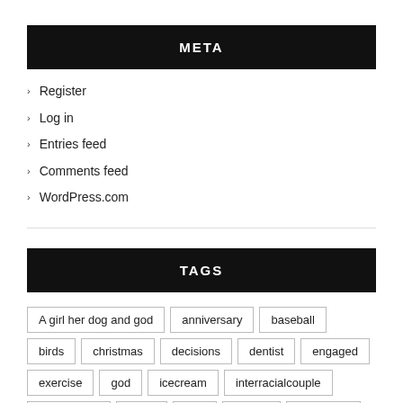META
Register
Log in
Entries feed
Comments feed
WordPress.com
TAGS
A girl her dog and god
anniversary
baseball
birds
christmas
decisions
dentist
engaged
exercise
god
icecream
interracialcouple
introduction
jesus
jobs
london
meangirls
ministry
missamerica